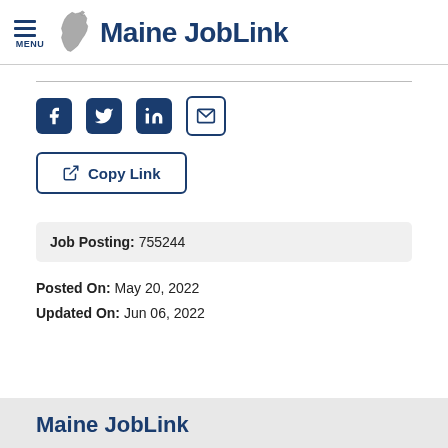Maine JobLink
[Figure (logo): Maine JobLink logo with Maine state map outline and hamburger menu icon]
[Figure (infographic): Social media share icons: Facebook, Twitter, LinkedIn, Email]
Copy Link
Job Posting: 755244
Posted On: May 20, 2022
Updated On: Jun 06, 2022
Maine JobLink